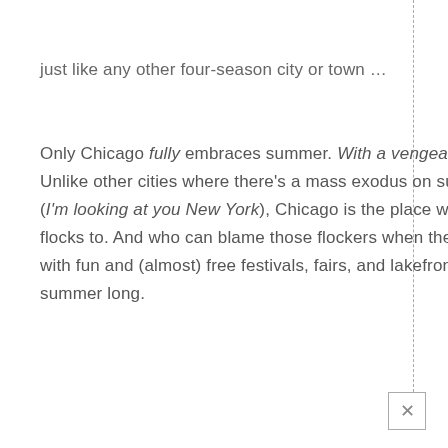just like any other four-season city or town …
Only Chicago fully embraces summer. With a vengeance. And vice grip. Unlike other cities where there's a mass exodus on summer weekends (I'm looking at you New York), Chicago is the place where everyone flocks to. And who can blame those flockers when the city is jam-packed with fun and (almost) free festivals, fairs, and lakefront activities all summer long.